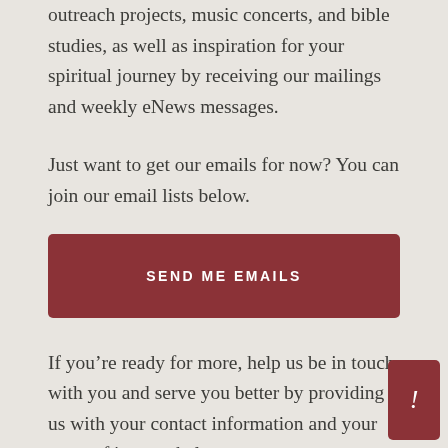outreach projects, music concerts, and bible studies, as well as inspiration for your spiritual journey by receiving our mailings and weekly eNews messages.
Just want to get our emails for now? You can join our email lists below.
[Figure (other): A dark red/maroon rectangular button with white uppercase text reading 'SEND ME EMAILS']
If you’re ready for more, help us be in touch with you and serve you better by providing us with your contact information and your areas of interest below.